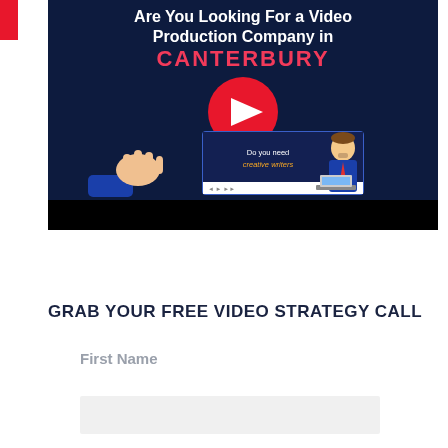[Figure (screenshot): YouTube video thumbnail for a Video Production Company in Canterbury. Dark navy background with white bold text reading 'Are You Looking For a Video Production Company in CANTERBURY' (CANTERBURY in red/pink). A large YouTube play button (red circle with white triangle) is centered. Below is an animated screen showing a hand holding a tablet with text 'Do you need creative writers' and an animated character. Bottom portion is black.]
GRAB YOUR FREE VIDEO STRATEGY CALL
First Name